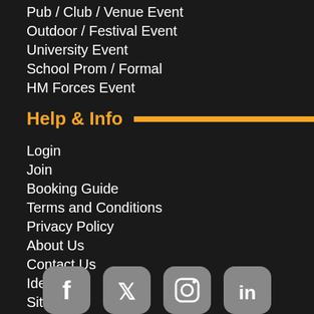Pub / Club / Venue Event
Outdoor / Festival Event
University Event
School Prom / Formal
HM Forces Event
Help & Info
Login
Join
Booking Guide
Terms and Conditions
Privacy Policy
About Us
Contact Us
Ideas
Sitemap
Event Entertainment Awards
[Figure (illustration): Social media icons for Facebook, Twitter, Instagram, LinkedIn shown as circular grey buttons at the bottom of the page.]